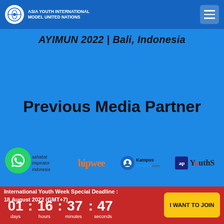ASIA YOUTH INTERNATIONAL MODEL UNITED NATIONS
AYIMUN 2022 | Bali, Indonesia
Previous Media Partner
[Figure (logo): Row of media partner logos: Sahabat Inspirator Indonesia, hipwee, KampusUpdate.com, ap YouthS]
International Youth Week Special Deadline : 18 August 2022 (GMT+7)
01 : 16 : 37 : 47
days   hours   minutes   seconds
I WANT TO JOIN